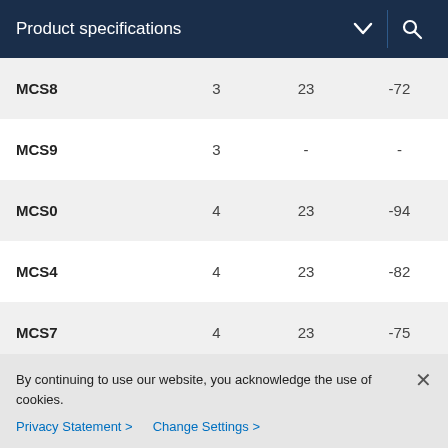Product specifications
|  |  |  |  |
| --- | --- | --- | --- |
| MCS8 | 3 | 23 | -72 |
| MCS9 | 3 | - | - |
| MCS0 | 4 | 23 | -94 |
| MCS4 | 4 | 23 | -82 |
| MCS7 | 4 | 23 | -75 |
By continuing to use our website, you acknowledge the use of cookies.
Privacy Statement > Change Settings >